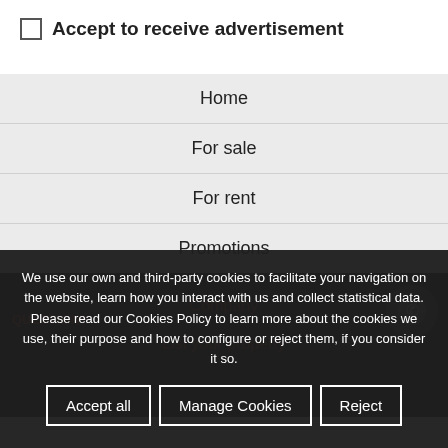Accept to receive advertisement
Home
For sale
For rent
Promotions
Company
List your property
QUESTION?
We use our own and third-party cookies to facilitate your navigation on the website, learn how you interact with us and collect statistical data. Please read our Cookies Policy to learn more about the cookies we use, their purpose and how to configure or reject them, if you consider it so.
Accept all
Manage Cookies
Reject